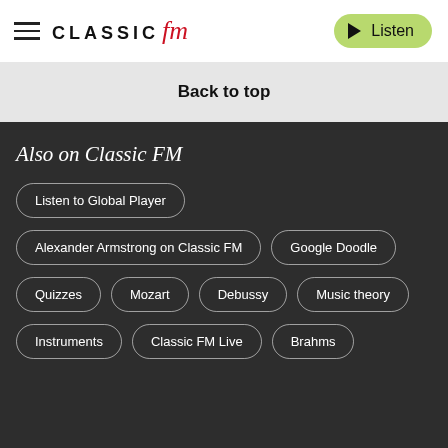CLASSIC FM — Listen
Back to top
Also on Classic FM
Listen to Global Player
Alexander Armstrong on Classic FM
Google Doodle
Quizzes
Mozart
Debussy
Music theory
Instruments
Classic FM Live
Brahms